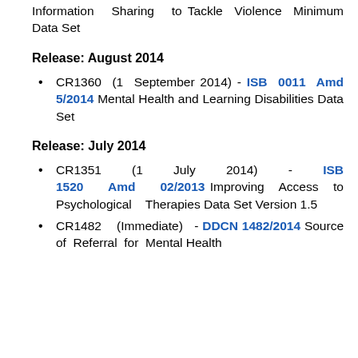Information Sharing to Tackle Violence Minimum Data Set
Release: August 2014
CR1360 (1 September 2014) - ISB 0011 Amd 5/2014 Mental Health and Learning Disabilities Data Set
Release: July 2014
CR1351 (1 July 2014) - ISB 1520 Amd 02/2013 Improving Access to Psychological Therapies Data Set Version 1.5
CR1482 (Immediate) - DDCN 1482/2014 Source of Referral for Mental Health